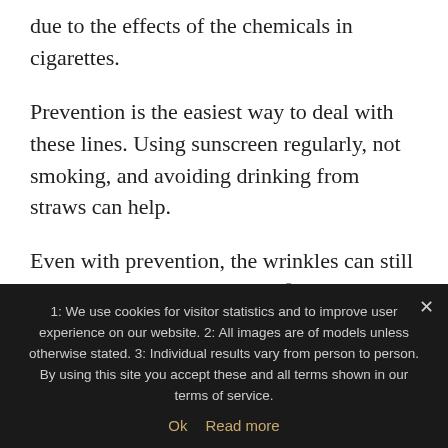due to the effects of the chemicals in cigarettes.
Prevention is the easiest way to deal with these lines. Using sunscreen regularly, not smoking, and avoiding drinking from straws can help.
Even with prevention, the wrinkles can still appear. If they do, Restylane® Silk can help.
1: We use cookies for visitor statistics and to improve user experience on our website. 2: All images are of models unless otherwise stated. 3: Individual results vary from person to person. By using this site you accept these and all terms shown in our terms of service.